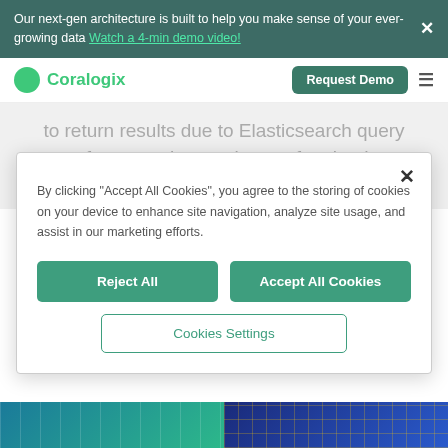Our next-gen architecture is built to help you make sense of your ever-growing data Watch a 4-min demo video!
[Figure (screenshot): Coralogix logo and navigation bar with Request Demo button and hamburger menu]
to return results due to Elasticsearch query performance issues, it can often lead to frustration
By clicking “Accept All Cookies”, you agree to the storing of cookies on your device to enhance site navigation, analyze site usage, and assist in our marketing efforts.
Reject All
Accept All Cookies
Cookies Settings
[Figure (illustration): Two decorative illustration panels at the bottom of the page, left showing data visualization and right showing network/tech graphic]